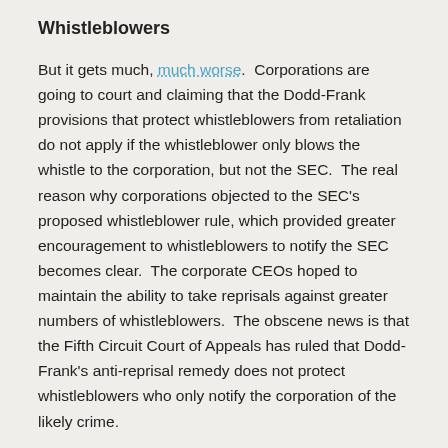Whistleblowers
But it gets much, much worse. Corporations are going to court and claiming that the Dodd-Frank provisions that protect whistleblowers from retaliation do not apply if the whistleblower only blows the whistle to the corporation, but not the SEC. The real reason why corporations objected to the SEC’s proposed whistleblower rule, which provided greater encouragement to whistleblowers to notify the SEC becomes clear. The corporate CEOs hoped to maintain the ability to take reprisals against greater numbers of whistleblowers. The obscene news is that the Fifth Circuit Court of Appeals has ruled that Dodd-Frank’s anti-reprisal remedy does not protect whistleblowers who only notify the corporation of the likely crime.
Conclusion and a Plea to Act